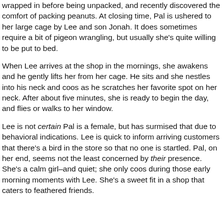wrapped in before being unpacked, and recently discovered the comfort of packing peanuts. At closing time, Pal is ushered to her large cage by Lee and son Jonah. It does sometimes require a bit of pigeon wrangling, but usually she's quite willing to be put to bed.
When Lee arrives at the shop in the mornings, she awakens and he gently lifts her from her cage. He sits and she nestles into his neck and coos as he scratches her favorite spot on her neck. After about five minutes, she is ready to begin the day, and flies or walks to her window.
Lee is not certain Pal is a female, but has surmised that due to behavioral indications. Lee is quick to inform arriving customers that there's a bird in the store so that no one is startled. Pal, on her end, seems not the least concerned by their presence. She's a calm girl–and quiet; she only coos during those early morning moments with Lee. She's a sweet fit in a shop that caters to feathered friends.